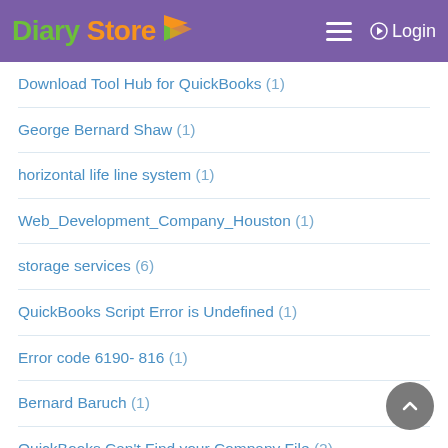Diary Store — Login
Download Tool Hub for QuickBooks (1)
George Bernard Shaw (1)
horizontal life line system (1)
Web_Development_Company_Houston (1)
storage services (6)
QuickBooks Script Error is Undefined (1)
Error code 6190- 816 (1)
Bernard Baruch (1)
QuickBooks Can't Find your Company File (2)
Joe Morgan (1)
Vibration detectors Quebec Canada (9)
ERROR OLSU-1024 (1)